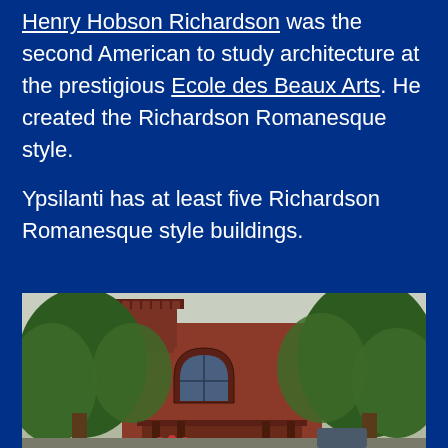Henry Hobson Richardson was the second American to study architecture at the prestigious Ecole des Beaux Arts. He created the Richardson Romanesque style.
Ypsilanti has at least five Richardson Romanesque style buildings.
[Figure (photo): Photograph of a Richardson Romanesque style brick building in Ypsilanti, partially obscured by large green trees. The building features a rounded arch window, decorative cornice, and tower with ornamental details typical of the Romanesque Revival style.]